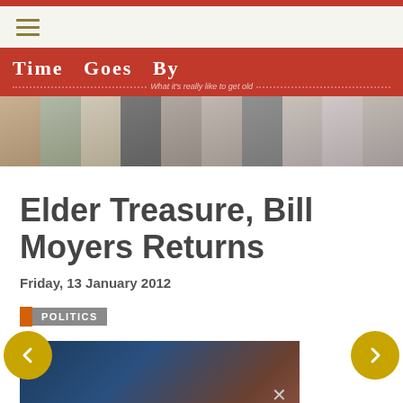Time Goes By — What it's really like to get old
[Figure (photo): Blog header photo strip showing 10 black-and-white photos of the same woman aging from childhood to elderly]
Elder Treasure, Bill Moyers Returns
Friday, 13 January 2012
POLITICS
[Figure (photo): Partially visible dark blue/brown photo at the bottom of the page with a close (X) button]